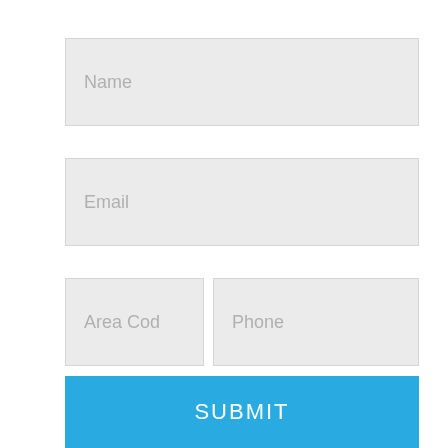[Figure (screenshot): A contact form UI with input fields for Name, Email, Area Code, Phone, and Message, plus a blue SUBMIT button at the bottom.]
Name
Email
Area Cod
Phone
Message
SUBMIT